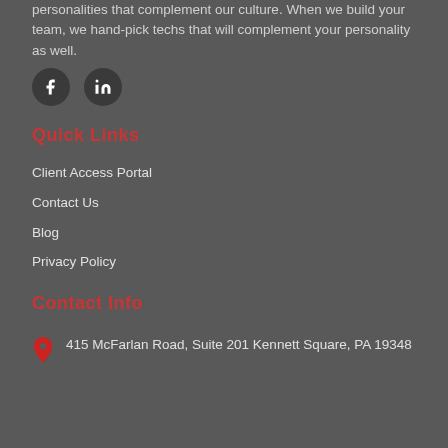personalities that complement our culture. When we build your team, we hand-pick techs that will complement your personality as well.
[Figure (illustration): Two social media icons: a Facebook icon (dark circle with 'f') and a LinkedIn icon (dark circle with 'in')]
Quick Links
Client Access Portal
Contact Us
Blog
Privacy Policy
Contact Info
415 McFarlan Road, Suite 201 Kennett Square, PA 19348